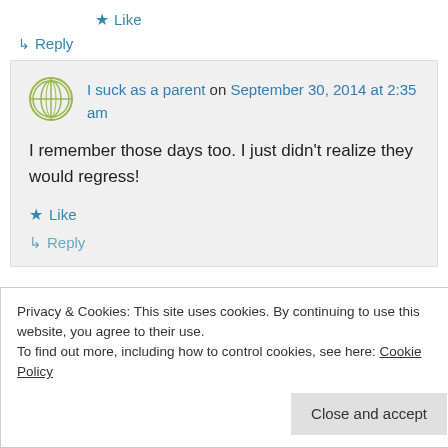★ Like
↳ Reply
I suck as a parent on September 30, 2014 at 2:35 am
I remember those days too. I just didn't realize they would regress!
★ Like
↳ Reply
Privacy & Cookies: This site uses cookies. By continuing to use this website, you agree to their use.
To find out more, including how to control cookies, see here: Cookie Policy